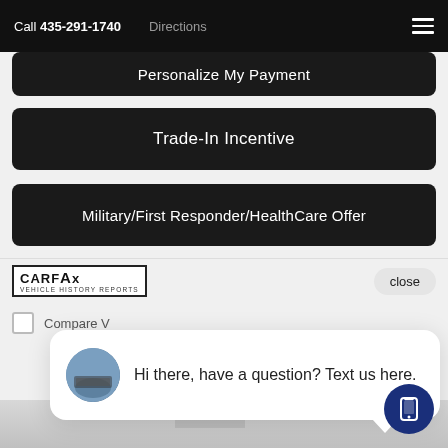Call 435-291-1740   Directions
Personalize My Payment
Trade-In Incentive
Military/First Responder/HealthCare Offer
[Figure (logo): CARFAX Vehicle History Reports logo]
close
Compare V
Hi there, have a question? Text us here.
[Figure (photo): Phone icon button (mobile chat FAB)]